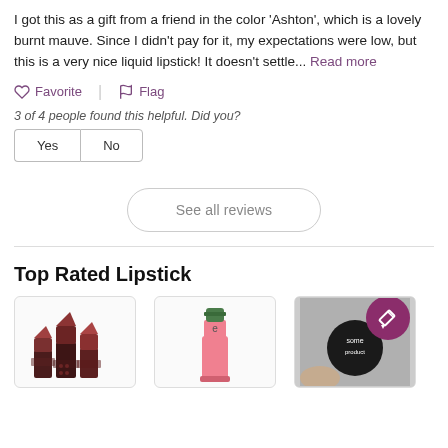I got this as a gift from a friend in the color 'Ashton', which is a lovely burnt mauve. Since I didn't pay for it, my expectations were low, but this is a very nice liquid lipstick! It doesn't settle... Read more
Favorite | Flag
3 of 4 people found this helpful. Did you?
Yes   No
See all reviews
Top Rated Lipstick
[Figure (photo): Three dark-toned lipstick bullets in brown/dark red shades grouped together]
[Figure (photo): A pink lipstick with green cap/base, standing upright]
[Figure (photo): A dark product (likely lip product) with a purple circular edit/review icon overlay in the top right corner]